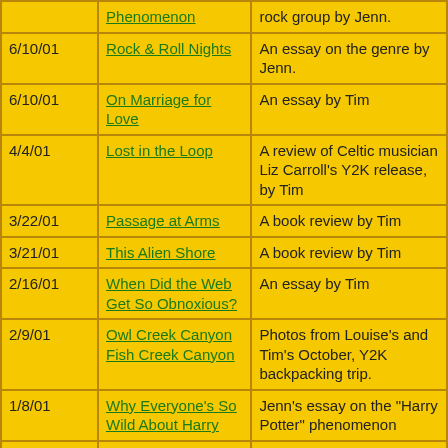| Date | Title | Description |
| --- | --- | --- |
|  | Phenomenon | rock group by Jenn. |
| 6/10/01 | Rock & Roll Nights | An essay on the genre by Jenn. |
| 6/10/01 | On Marriage for Love | An essay by Tim |
| 4/4/01 | Lost in the Loop | A review of Celtic musician Liz Carroll's Y2K release, by Tim |
| 3/22/01 | Passage at Arms | A book review by Tim |
| 3/21/01 | This Alien Shore | A book review by Tim |
| 2/16/01 | When Did the Web Get So Obnoxious? | An essay by Tim |
| 2/9/01 | Owl Creek Canyon Fish Creek Canyon | Photos from Louise's and Tim's October, Y2K backpacking trip. |
| 1/8/01 | Why Everyone's So Wild About Harry | Jenn's essay on the "Harry Potter" phenomenon |
| 1/3/01 | The Chieftans 8 | A music review by Tim |
| 1/1/01 | The Chieftans | Tim's review of the band that brought Irish traditional music to the world. |
|  |  | Tim revises and extends his article |